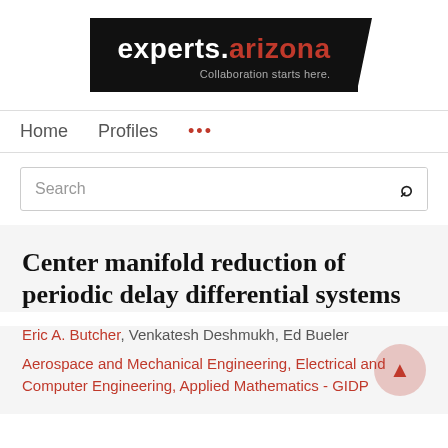[Figure (logo): experts.arizona logo — black background with white 'experts.' text and red 'arizona' text, tagline 'Collaboration starts here.']
Home   Profiles   ...
Search
Center manifold reduction of periodic delay differential systems
Eric A. Butcher, Venkatesh Deshmukh, Ed Bueler
Aerospace and Mechanical Engineering, Electrical and Computer Engineering, Applied Mathematics - GIDP